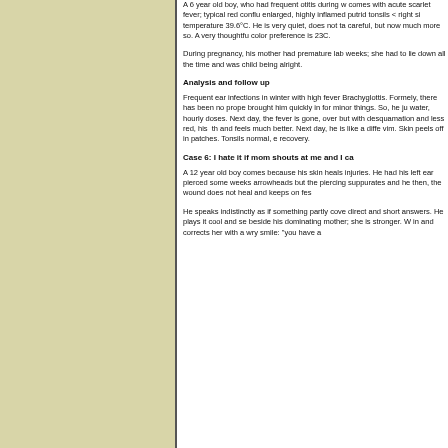A 6 year old boy, who had frequent otitis during w comes with acute scarlet fever; typical red conflu enlarged, highly inflamed putrid tonsils < right si temperature 39.6°C. He is very quiet, does not ta careful, but now much more so. A very thoughtfu color preference is 23C.
During pregnancy, his mother had premature lab weeks; she had to lie down all the time and was child being alright.
Analysis and follow up
Frequent ear infections in winter with high fever Brachyglottis. Formely, there has been no prope brought him quickly in for minor things. So, he ju water, hourly doses. Next day, the fever is gone, over but with desquamation and less red, his th and feels much better. Next day, he is like a diffe vim. Skin peels off in patches. Tonsils normal, e recovery.
Case 6: I hate it if mom shouts at me and I ca
A 12 year old boy comes because his skin heals injuries. He had his left ear pierced some weeks arrowheads but the piercing suppurates and he then, the wound does not heal and keeps on fes
He speaks indistinctly as if something partly cove direct and short answers. He plays it cool and se beside his dominating mother; she is stronger. W in and corrects her with a wry smile: "you have a